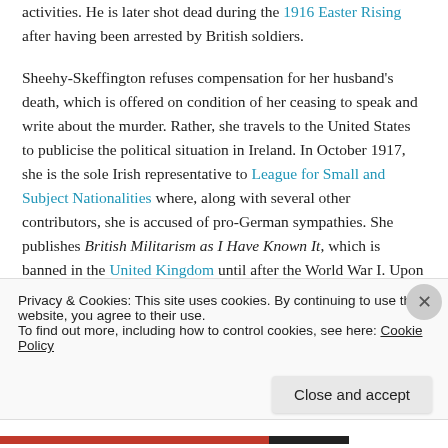activities. He is later shot dead during the 1916 Easter Rising after having been arrested by British soldiers.
Sheehy-Skeffington refuses compensation for her husband's death, which is offered on condition of her ceasing to speak and write about the murder. Rather, she travels to the United States to publicise the political situation in Ireland. In October 1917, she is the sole Irish representative to League for Small and Subject Nationalities where, along with several other contributors, she is accused of pro-German sympathies. She publishes British Militarism as I Have Known It, which is banned in the United Kingdom until after the World War I. Upon her
Privacy & Cookies: This site uses cookies. By continuing to use this website, you agree to their use.
To find out more, including how to control cookies, see here: Cookie Policy
Close and accept